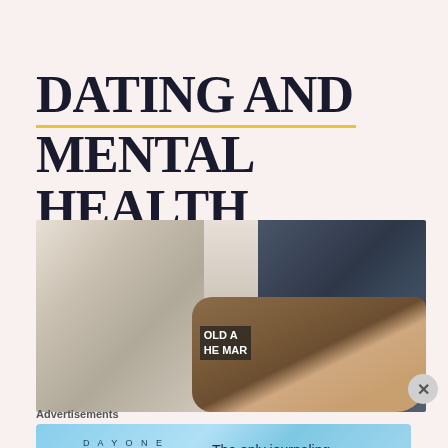DATING AND MENTAL HEALTH
[Figure (photo): A couple holding hands, one person in a wedding dress (white lace visible) and the other in a dark navy suit. A sign in the background partially reads 'OLD' and 'THE MAR'. The image is cropped to show mostly hands clasped together.]
Advertisements
[Figure (screenshot): Advertisement for DAY ONE journaling app. Light blue background with sparkles. Shows 'D A Y O N E' text with three icons (journal, person, list). Text reads: 'The only journaling app you'll ever need.']